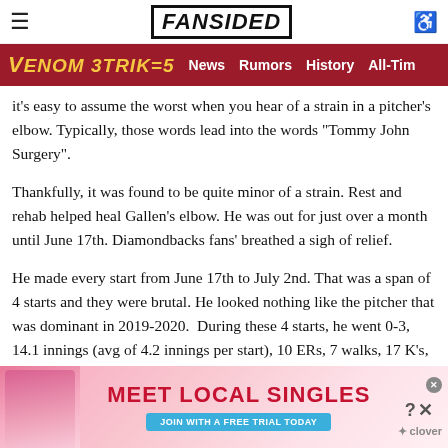FanSided
Venom Strikes | News | Rumors | History | All-Tim
it's easy to assume the worst when you hear of a strain in a pitcher's elbow. Typically, those words lead into the words "Tommy John Surgery".
Thankfully, it was found to be quite minor of a strain. Rest and rehab helped heal Gallen's elbow. He was out for just over a month until June 17th. Diamondbacks fans' breathed a sigh of relief.
He made every start from June 17th to July 2nd. That was a span of 4 starts and they were brutal. He looked nothing like the pitcher that was dominant in 2019-2020. During these 4 starts, he went 0-3, 14.1 innings (avg of 4.2 innings per start), 10 ERs, 7 walks, 17 K's, and a miserable 6.28 ERA. It felt that it was clear Gallen was pitching injured. If not injured, then something was wrong with his
[Figure (photo): Advertisement banner: Meet Local Singles - Join with a free trial today - Clover app]